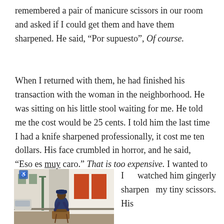remembered a pair of manicure scissors in our room and asked if I could get them and have them sharpened. He said, “Por supuesto”, Of course.
When I returned with them, he had finished his transaction with the woman in the neighborhood. He was sitting on his little stool waiting for me. He told me the cost would be 25 cents. I told him the last time I had a knife sharpened professionally, it cost me ten dollars. His face crumbled in horror, and he said, “Eso es muy caro.” That is too expensive. I wanted to say: Hell, yeah.
[Figure (photo): A man in a blue cap sits on a small stool on a street sidewalk, leaning over a wooden box/device, apparently sharpening a blade or tool. The street has buildings with orange shutters and a green lamppost in the background.]
I watched him gingerly sharpen my tiny scissors. His